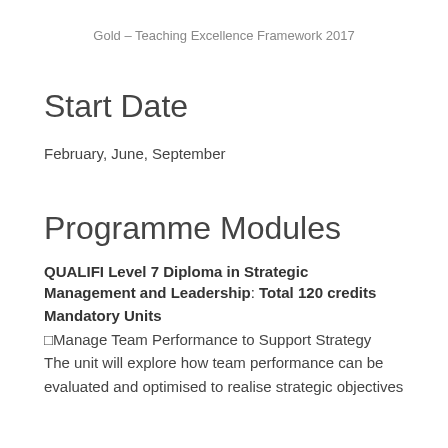Gold – Teaching Excellence Framework 2017
Start Date
February, June, September
Programme Modules
QUALIFI Level 7 Diploma in Strategic Management and Leadership: Total 120 credits
Mandatory Units
●Manage Team Performance to Support Strategy
The unit will explore how team performance can be evaluated and optimised to realise strategic objectives